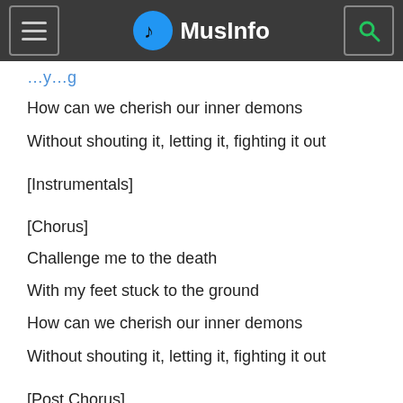MusInfo
How can we cherish our inner demons
Without shouting it, letting it, fighting it out
[Instrumentals]
[Chorus]
Challenge me to the death
With my feet stuck to the ground
How can we cherish our inner demons
Without shouting it, letting it, fighting it out
[Post Chorus]
Challenge me 'til the early dawn